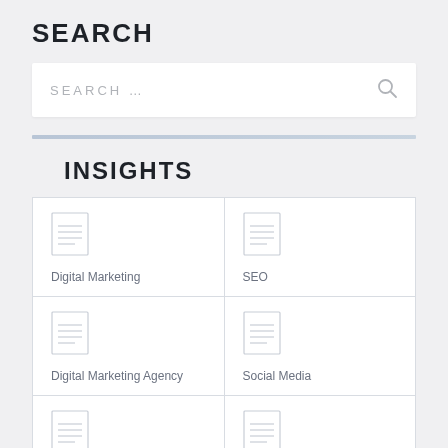SEARCH
[Figure (screenshot): Search input box with placeholder text 'SEARCH ...' and a magnifying glass icon on the right]
INSIGHTS
| Digital Marketing | SEO |
| Digital Marketing Agency | Social Media |
| internet marketing | Social Media Marketing |